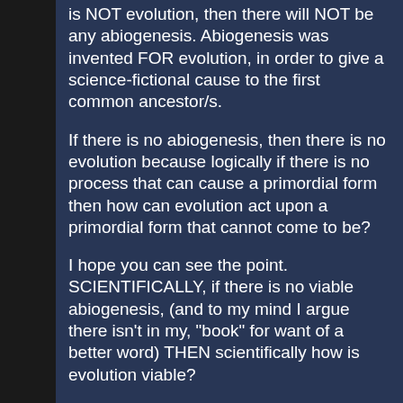is NOT evolution, then there will NOT be any abiogenesis. Abiogenesis was invented FOR evolution, in order to give a science-fictional cause to the first common ancestor/s.
If there is no abiogenesis, then there is no evolution because logically if there is no process that can cause a primordial form then how can evolution act upon a primordial form that cannot come to be?
I hope you can see the point. SCIENTIFICALLY, if there is no viable abiogenesis, (and to my mind I argue there isn't in my, "book" for want of a better word) THEN scientifically how is evolution viable?
If there is no scientific cause for a common ancestor which actually exists and one cannot naturally come to be, evolution cannot then act on something which never existed.
That is why abiogenesis is VITAL. That is why evolutionists classically try their best to